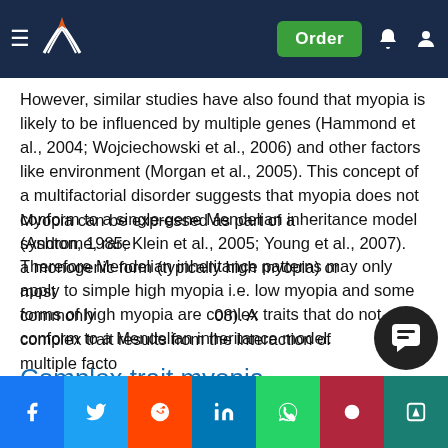Order
However, similar studies have also found that myopia is likely to be influenced by multiple genes (Hammond et al., 2004; Wojciechowski et al., 2006) and other factors like environment (Morgan et al., 2005). This concept of a multifactorial disorder suggests that myopia does not conform to a single-gene Mendelian inheritance model (Ashton, 1985; Klein et al., 2005; Young et al., 2007). Therefore Mendelian inheritance patterns may only apply to simple high myopia i.e. low myopia and some forms of high myopia are comlex traits that do not conform to a Mendelian inheritance model.
Complex trait myopia
Myopia can be expressed as part of a syndrome, rare a monogenic form (typically high myopia) or most commonly (08). A complex trait results from the interaction of multiple facto...